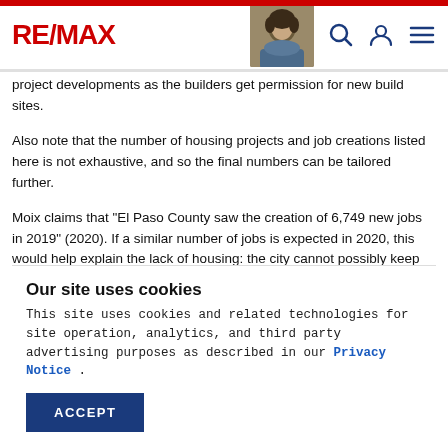RE/MAX
project developments as the builders get permission for new build sites.
Also note that the number of housing projects and job creations listed here is not exhaustive, and so the final numbers can be tailored further.
Moix claims that "El Paso County saw the creation of 6,749 new jobs in 2019" (2020). If a similar number of jobs is expected in 2020, this would help explain the lack of housing: the city cannot possibly keep up with
Our site uses cookies
This site uses cookies and related technologies for site operation, analytics, and third party advertising purposes as described in our Privacy Notice .
ACCEPT